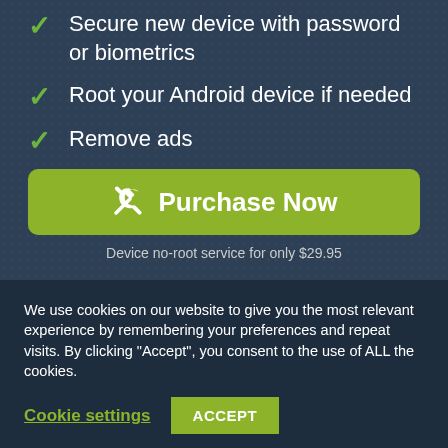Secure new device with password or biometrics
Root your Android device if needed
Remove ads
[Figure (other): Green Purchase Now button with wrench icon]
Device no-root service for only $29.95
We use cookies on our website to give you the most relevant experience by remembering your preferences and repeat visits. By clicking “Accept”, you consent to the use of ALL the cookies.
Cookie settings
ACCEPT